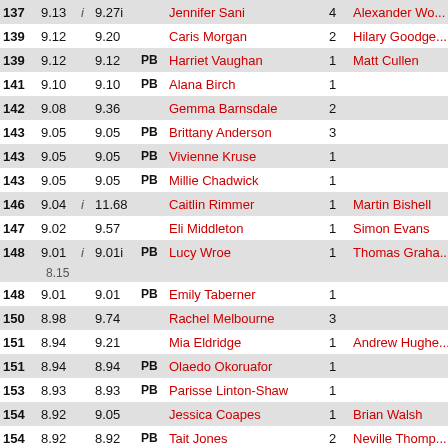| Rank | Perf | i | Best | PB | Name | Num | Coach |
| --- | --- | --- | --- | --- | --- | --- | --- |
| 137 | 9.13 | i | 9.27i |  | Jennifer Sani | 4 | Alexander Wo... |
| 139 | 9.12 |  | 9.20 |  | Caris Morgan | 2 | Hilary Goodge... |
| 139 | 9.12 |  | 9.12 | PB | Harriet Vaughan | 1 | Matt Cullen |
| 141 | 9.10 |  | 9.10 | PB | Alana Birch | 1 |  |
| 142 | 9.08 |  | 9.36 |  | Gemma Barnsdale | 2 |  |
| 143 | 9.05 |  | 9.05 | PB | Brittany Anderson | 3 |  |
| 143 | 9.05 |  | 9.05 | PB | Vivienne Kruse | 1 |  |
| 143 | 9.05 |  | 9.05 | PB | Millie Chadwick | 1 |  |
| 146 | 9.04 | i | 11.68 |  | Caitlin Rimmer | 1 | Martin Bishell |
| 147 | 9.02 |  | 9.57 |  | Eli Middleton | 1 | Simon Evans |
| 148 | 9.01 | i | 9.01i | PB | Lucy Wroe | 1 | Thomas Graha... |
|  | 8.15 |  |  |  |  |  |  |
| 148 | 9.01 |  | 9.01 | PB | Emily Taberner | 1 |  |
| 150 | 8.98 |  | 9.74 |  | Rachel Melbourne | 3 |  |
| 151 | 8.94 |  | 9.21 |  | Mia Eldridge | 1 | Andrew Hughe... |
| 151 | 8.94 |  | 8.94 | PB | Olaedo Okoruafor | 1 |  |
| 153 | 8.93 |  | 8.93 | PB | Parisse Linton-Shaw | 1 |  |
| 154 | 8.92 |  | 9.05 |  | Jessica Coapes | 1 | Brian Walsh |
| 154 | 8.92 |  | 8.92 | PB | Tait Jones | 2 | Neville Thomp... |
| 156 | 8.87 | i | 9.25i |  | Rosie Rice | 2 | Alex Giles |
|  | 8.55 |  |  |  |  |  |  |
| 157 | 8.86 |  | 9.62 |  | Libby Taylor | 1 | Mick Shortland... |